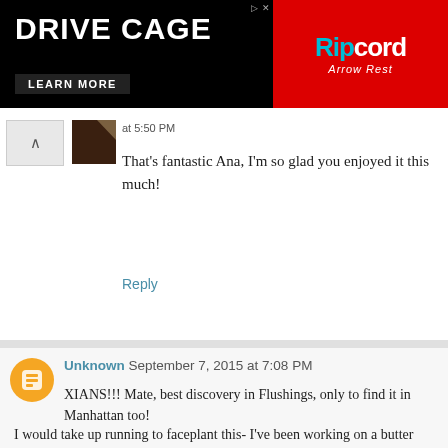[Figure (other): Advertisement banner for Ripcord Arrow Rest Drive Cage product. Black background with white bold text 'DRIVE CAGE', 'LEARN MORE' button, product image, and red panel with Ripcord logo.]
at 5:50 PM
That's fantastic Ana, I'm so glad you enjoyed it this much!
Reply
Unknown September 7, 2015 at 7:08 PM
XIANS!!! Mate, best discovery in Flushings, only to find it in Manhattan too!
I would take up running to faceplant this- I've been working on a butter chicken recipe but I just can't make it